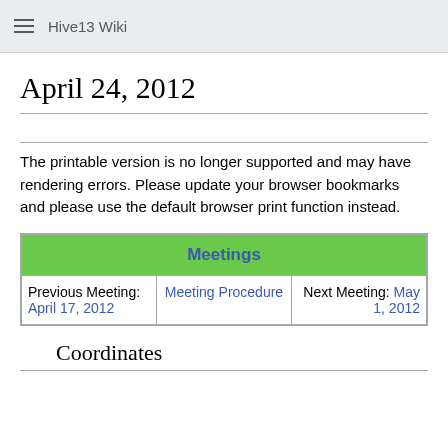Hive13 Wiki
April 24, 2012
The printable version is no longer supported and may have rendering errors. Please update your browser bookmarks and please use the default browser print function instead.
| Meetings |
| --- |
| Previous Meeting: April 17, 2012 | Meeting Procedure | Next Meeting: May 1, 2012 |
Coordinates